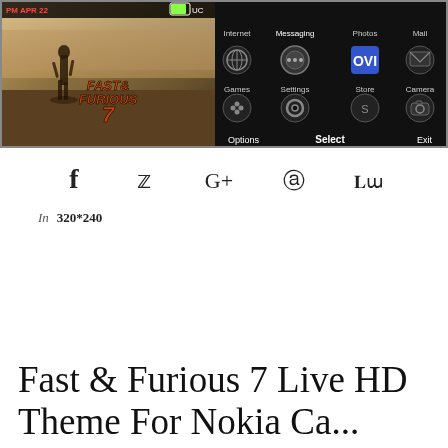[Figure (screenshot): Nokia phone screenshot showing Fast & Furious 7 theme with movie image on left and phone menu (Internet, Messaging, Photos, Mail, Games, Settings, Store, Camera) on right, with Options/Select/Exit bottom bar]
[Figure (infographic): Social sharing icons: Facebook (f), Twitter (bird), Google+, Pinterest, StumbleUpon]
In 320*240
Fast & Furious 7 Live HD Theme For Nokia Ca...